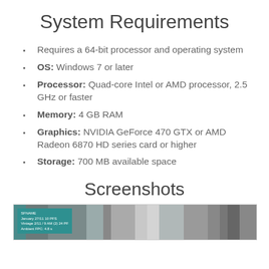System Requirements
Requires a 64-bit processor and operating system
OS: Windows 7 or later
Processor: Quad-core Intel or AMD processor, 2.5 GHz or faster
Memory: 4 GB RAM
Graphics: NVIDIA GeForce 470 GTX or AMD Radeon 6870 HD series card or higher
Storage: 700 MB available space
Screenshots
[Figure (screenshot): Game screenshot showing dark vertical panels or curtains with a teal info overlay in the top-left corner]